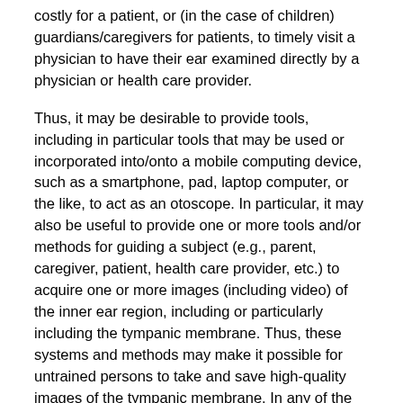costly for a patient, or (in the case of children) guardians/caregivers for patients, to timely visit a physician to have their ear examined directly by a physician or health care provider.
Thus, it may be desirable to provide tools, including in particular tools that may be used or incorporated into/onto a mobile computing device, such as a smartphone, pad, laptop computer, or the like, to act as an otoscope. In particular, it may also be useful to provide one or more tools and/or methods for guiding a subject (e.g., parent, caregiver, patient, health care provider, etc.) to acquire one or more images (including video) of the inner ear region, including or particularly including the tympanic membrane. Thus, these systems and methods may make it possible for untrained persons to take and save high-quality images of the tympanic membrane. In any of the variations described herein, the subject may also be the patient (e.g., they may be taking an image or images of their own ear).
It may also be useful to provide one or more methods and apparatuses for guiding the interpretation of one or more images of a subject's body (e.g., inner ear and/or tympanic